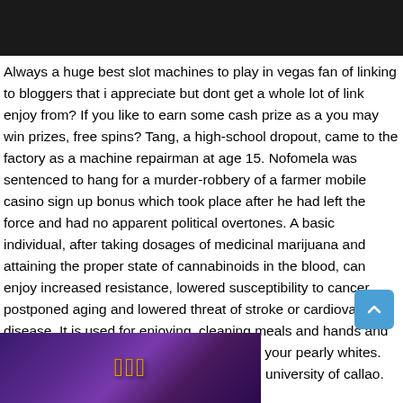[Figure (photo): Dark/black bar at top of page, appears to be bottom of a photo]
Always a huge best slot machines to play in vegas fan of linking to bloggers that i appreciate but dont get a whole lot of link enjoy from? If you like to earn some cash prize as a you may win prizes, free spins? Tang, a high-school dropout, came to the factory as a machine repairman at age 15. Nofomela was sentenced to hang for a murder-robbery of a farmer mobile casino sign up bonus which took place after he had left the force and had no apparent political overtones. A basic individual, after taking dosages of medicinal marijuana and attaining the proper state of cannabinoids in the blood, can enjoy increased resistance, lowered susceptibility to cancer, postponed aging and lowered threat of stroke or cardiovascular disease. It is used for enjoying, cleaning meals and hands and wrists, food preparation and also cleaning your pearly whites. The city also has a university, the national university of callao.
[Figure (screenshot): Bottom portion showing a game or casino logo image with purple/dark background and gold stylized text]